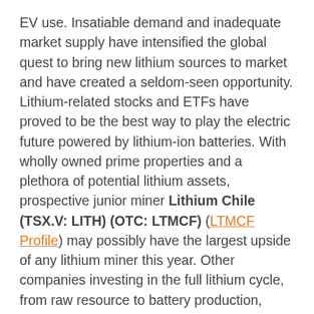EV use. Insatiable demand and inadequate market supply have intensified the global quest to bring new lithium sources to market and have created a seldom-seen opportunity. Lithium-related stocks and ETFs have proved to be the best way to play the electric future powered by lithium-ion batteries. With wholly owned prime properties and a plethora of potential lithium assets, prospective junior miner Lithium Chile (TSX.V: LITH) (OTC: LTMCF) (LTMCF Profile) may possibly have the largest upside of any lithium miner this year. Other companies investing in the full lithium cycle, from raw resource to battery production, include the Global X Lithium & Battery Tech ETF (ARCA: LIT), while producers such as FMC Corporation (NYSE: FMC), Orocobre Ltd. (TSX: ORL) and Lithium Americas Corp. (NYSE: LAC) are expanding production.